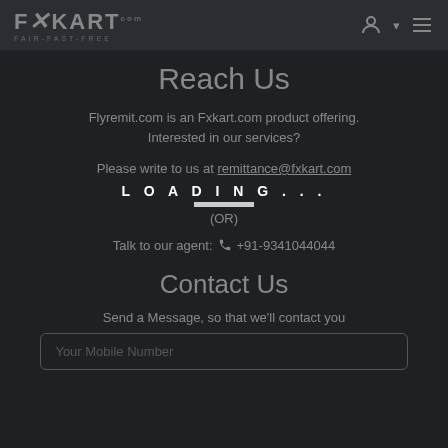FXKart FAIR-FAST-FREE
Reach Us
Flyremit.com is an Fxkart.com product offering. Interested in our services?
Please write to us at remittance@fxkart.com
LOADING...
(OR)
Talk to our agent: +91-9341044044
Contact Us
Send a Message, so that we'll contact you
Your Mobile Number